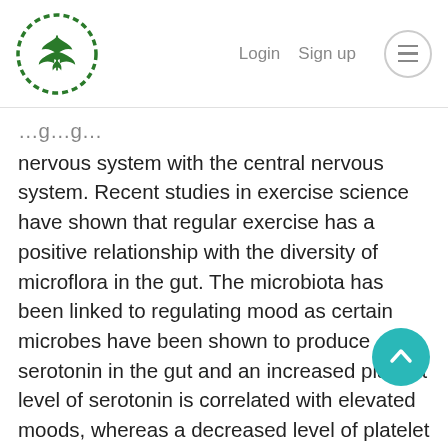Login  Sign up
nervous system with the central nervous system. Recent studies in exercise science have shown that regular exercise has a positive relationship with the diversity of microflora in the gut. The microbiota has been linked to regulating mood as certain microbes have been shown to produce serotonin in the gut and an increased platelet level of serotonin is correlated with elevated moods, whereas a decreased level of platelet serotonin is correlated to lower moods and depression (Dalton 2019).
Endocrine system – the primary function of